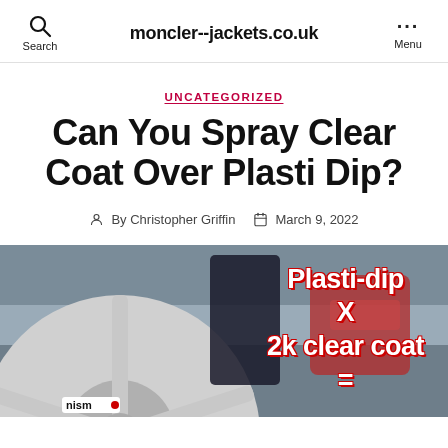moncler--jackets.co.uk
UNCATEGORIZED
Can You Spray Clear Coat Over Plasti Dip?
By Christopher Griffin  March 9, 2022
[Figure (photo): Photo of a grey Nismo car wheel with text overlay: Plasti-dip X 2k clear coat = ]